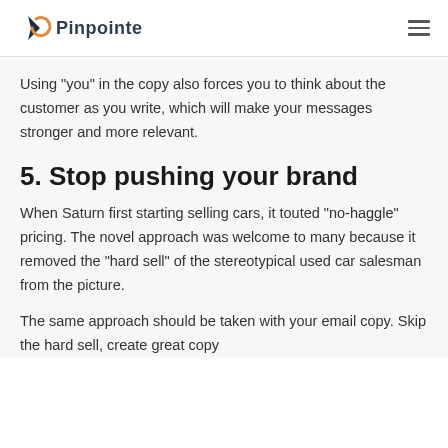Pinpointe
Using "you" in the copy also forces you to think about the customer as you write, which will make your messages stronger and more relevant.
5. Stop pushing your brand
When Saturn first starting selling cars, it touted “no-haggle” pricing. The novel approach was welcome to many because it removed the “hard sell” of the stereotypical used car salesman from the picture.
The same approach should be taken with your email copy. Skip the hard sell, create great copy